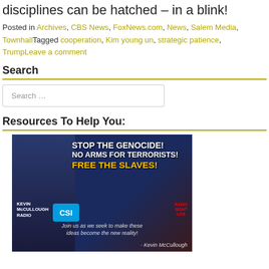disciplines can be hatched – in a blink!
Posted in Archives, CBS News, FoxNews.com, News, Salem Media, TownhallTagged cooperation, Kim young un, strategic patience, TrumpLeave a comment
Search
Search ...
Resources To Help You:
[Figure (photo): Banner image with a man in a suit and glasses against a US flag background, with text: STOP THE GENOCIDE! NO ARMS FOR TERRORISTS! FREE THE SLAVES! Kevin McCullough Radio, CSI logo, Radio Night Live, and text: Join us as we seek to make these ideas become the new reality! - Kevin McCullough]